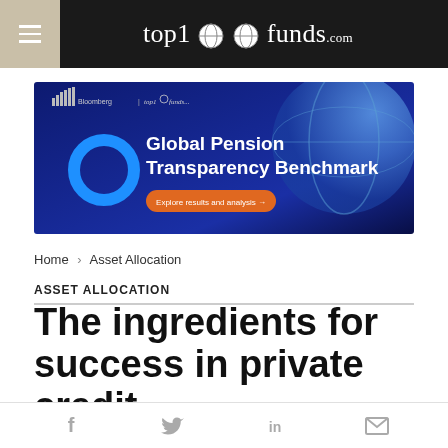top1000funds.com
[Figure (infographic): Advertisement banner for Global Pension Transparency Benchmark by top1000funds.com with blue background, globe graphic, bar chart icon, and orange 'Explore results and analysis' button]
Home > Asset Allocation
ASSET ALLOCATION
The ingredients for success in private credit
Social sharing icons: Facebook, Twitter, LinkedIn, Email